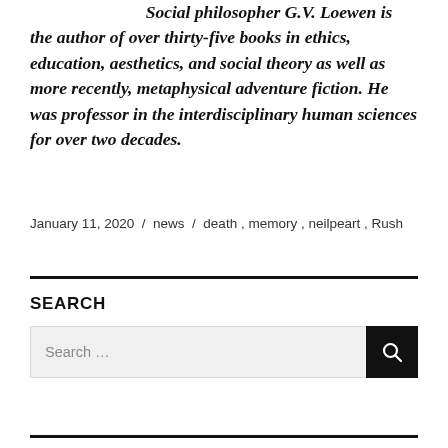Social philosopher G.V. Loewen is the author of over thirty-five books in ethics, education, aesthetics, and social theory as well as more recently, metaphysical adventure fiction. He was professor in the interdisciplinary human sciences for over two decades.
January 11, 2020 / news / death, memory, neilpeart, Rush
SEARCH